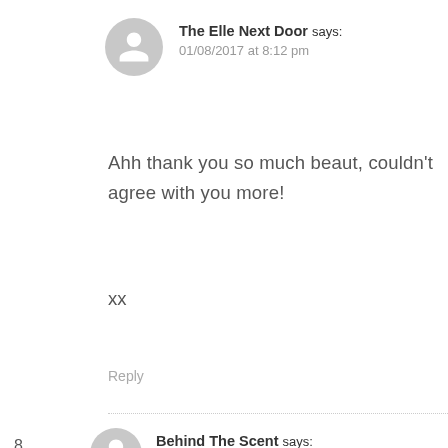The Elle Next Door says: 01/08/2017 at 8:12 pm
Ahh thank you so much beaut, couldn't agree with you more!
xx
Reply
8. Behind The Scent says: 01/08/2017 at 3:30 pm
Such a sweet post! You should be so proud of how far you've come Ellie! My best friends now are those that I've made through blogging, I never could hav